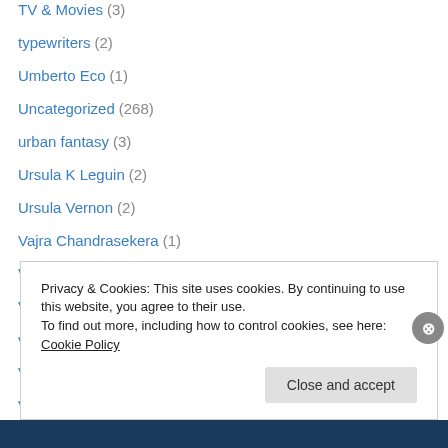TV & Movies (3)
typewriters (2)
Umberto Eco (1)
Uncategorized (268)
urban fantasy (3)
Ursula K Leguin (2)
Ursula Vernon (2)
Vajra Chandrasekera (1)
Vandana Singh (1)
Victor LaValle (1)
video games (1)
Vintage SciFi (66)
Voice Acting (1)
Vox Day (1)
Privacy & Cookies: This site uses cookies. By continuing to use this website, you agree to their use.
To find out more, including how to control cookies, see here: Cookie Policy